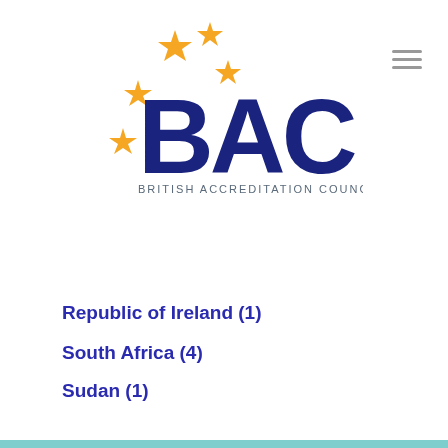[Figure (logo): British Accreditation Council (BAC) logo with orange stars and blue BAC lettering]
Republic of Ireland (1)
South Africa (4)
Sudan (1)
Switzerland (4)
UAE (1)
United Kingdom (163)
Search listings